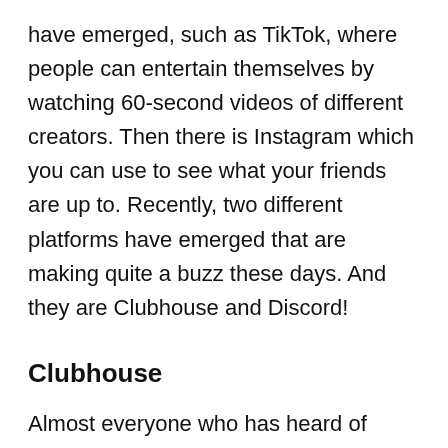have emerged, such as TikTok, where people can entertain themselves by watching 60-second videos of different creators. Then there is Instagram which you can use to see what your friends are up to. Recently, two different platforms have emerged that are making quite a buzz these days. And they are Clubhouse and Discord!
Clubhouse
Almost everyone who has heard of Clubhouse wants to get access to the app. But what is it that has got the entire world so excited about it? Well, it is an audio-based platform that is